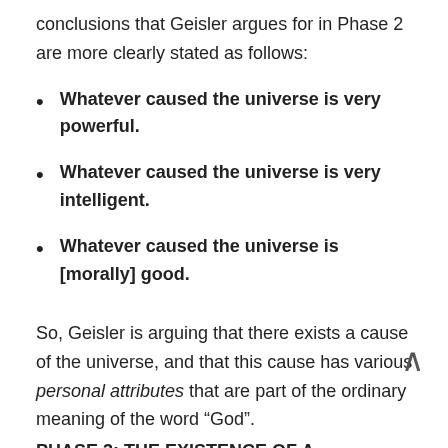conclusions that Geisler argues for in Phase 2 are more clearly stated as follows:
Whatever caused the universe is very powerful.
Whatever caused the universe is very intelligent.
Whatever caused the universe is [morally] good.
So, Geisler is arguing that there exists a cause of the universe, and that this cause has various personal attributes that are part of the ordinary meaning of the word “God”.
PHASE 3: THE EXISTENCE OF A NECESSARY BEING